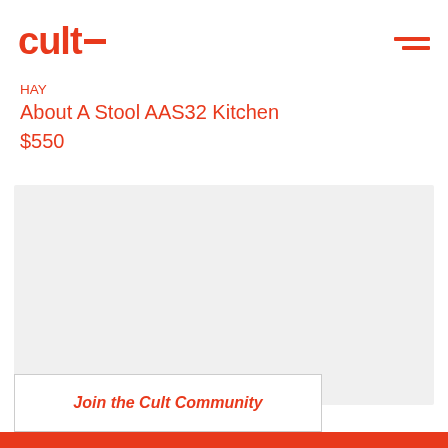cult
HAY
About A Stool AAS32 Kitchen
$550
[Figure (other): Light grey placeholder image area for product photo]
Join the Cult Community